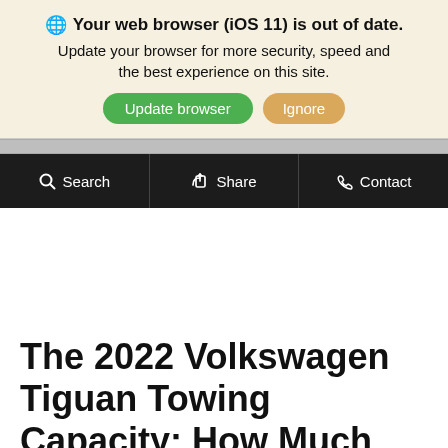🌐 Your web browser (iOS 11) is out of date. Update your browser for more security, speed and the best experience on this site. [Update browser] [Ignore]
[Figure (screenshot): Navigation bar with Search, Share, and Contact buttons on dark background]
The 2022 Volkswagen Tiguan Towing Capacity: How Much Can You Tow?